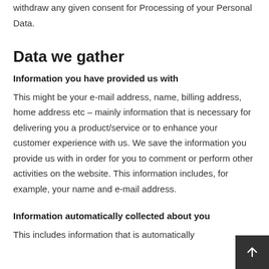withdraw any given consent for Processing of your Personal Data.
Data we gather
Information you have provided us with
This might be your e-mail address, name, billing address, home address etc – mainly information that is necessary for delivering you a product/service or to enhance your customer experience with us. We save the information you provide us with in order for you to comment or perform other activities on the website. This information includes, for example, your name and e-mail address.
Information automatically collected about you
This includes information that is automatically